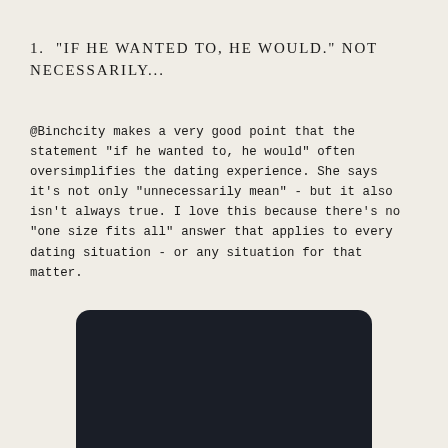1.  "IF HE WANTED TO, HE WOULD." NOT NECESSARILY...
@Binchcity makes a very good point that the statement "if he wanted to, he would" often oversimplifies the dating experience. She says it's not only "unnecessarily mean" - but it also isn't always true. I love this because there's no "one size fits all" answer that applies to every dating situation - or any situation for that matter.
[Figure (screenshot): Dark-background screenshot panel, mostly black/very dark navy, cropped at bottom of page]